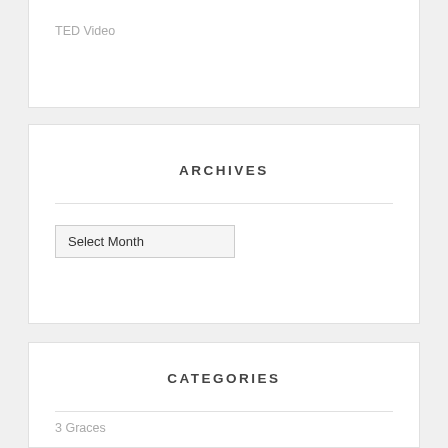TED Video
ARCHIVES
Select Month
CATEGORIES
3 Graces
About Myself
Art